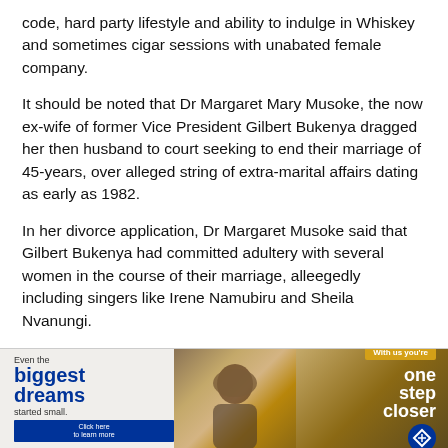code, hard party lifestyle and ability to indulge in Whiskey and sometimes cigar sessions with unabated female company.
It should be noted that Dr Margaret Mary Musoke, the now ex-wife of former Vice President Gilbert Bukenya dragged her then husband to court seeking to end their marriage of 45-years, over alleged string of extra-marital affairs dating as early as 1982.
In her divorce application, Dr Margaret Musoke said that Gilbert Bukenya had committed adultery with several women in the course of their marriage, alleegedly including singers like Irene Namubiru and Sheila Nvanungi.
She also named, Jamila Nakku, Teddy Ndagire, Stella
[Figure (infographic): Standard Bank advertisement banner with text 'Even the biggest dreams started small' and 'one step closer' with a person photo and tractor background]